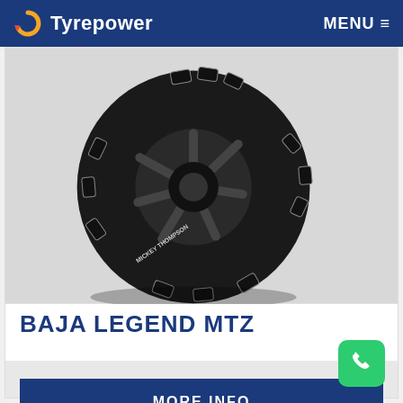Tyrepower  MENU
[Figure (photo): A large off-road mud-terrain tire (Baja Legend MTZ) mounted on a black alloy wheel, shown at an angle on a light grey background.]
BAJA LEGEND MTZ
MORE INFO